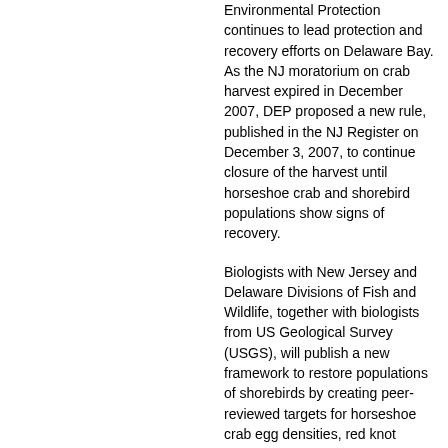Environmental Protection continues to lead protection and recovery efforts on Delaware Bay. As the NJ moratorium on crab harvest expired in December 2007, DEP proposed a new rule, published in the NJ Register on December 3, 2007, to continue closure of the harvest until horseshoe crab and shorebird populations show signs of recovery.
Biologists with New Jersey and Delaware Divisions of Fish and Wildlife, together with biologists from US Geological Survey (USGS), will publish a new framework to restore populations of shorebirds by creating peer-reviewed targets for horseshoe crab egg densities, red knot numbers and other key parameters. The states and their partners will attempt to adopt these targets and turn them into a new recovery scheme that will restore shorebird and crab populations and the Delaware Bay migratory stop over...